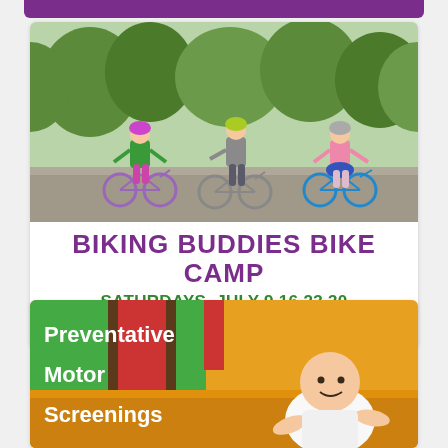[Figure (photo): Three young children wearing helmets riding balance bikes on a paved path with green trees in the background.]
BIKING BUDDIES BIKE CAMP
SATURDAYS, JULY 9,16,23,30
9:30AM – 10:30AM
[Figure (photo): Baby crawling on an orange floor with colorful blocks in the background. Text overlay reads: Preventative Motor Screenings.]
Preventative Motor Screenings